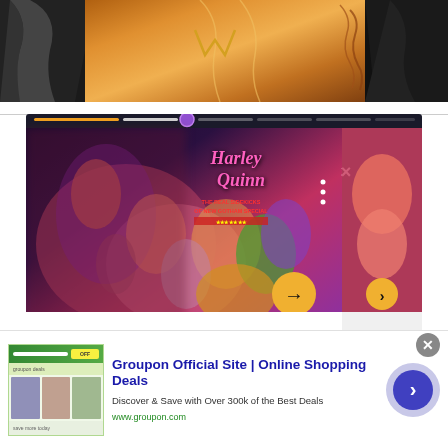[Figure (illustration): Comic book banner showing stylized superhero/villain figures — dark cloaked figure on left, orange/golden armored figure in center, dark figure on right]
[Figure (screenshot): Modal dialog showing Harley Quinn comic book cover carousel with progress bar at top, comic cover art with blurred left panel, three-dots menu, X close button, orange arrow navigation button, and right panel with partial image]
[Figure (photo): Advertisement banner: Groupon Official Site | Online Shopping Deals. Discover & Save with Over 300k of the Best Deals. www.groupon.com. Shows Groupon website screenshot thumbnail with product photos on left, ad text in center, and blue circular arrow button on right.]